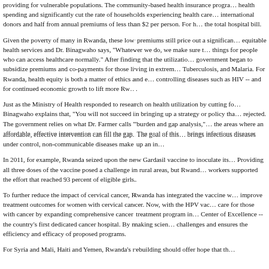providing for vulnerable populations. The community-based health insurance program... health spending and significantly cut the rate of households experiencing health care... international donors and half from annual premiums of less than $2 per person. For h... the total hospital bill.
Given the poverty of many in Rwanda, these low premiums still price out a significan... equitable health services and Dr. Binagwaho says, "Whatever we do, we make sure t... things for people who can access healthcare normally." After finding that the utilizatio... government began to subsidize premiums and co-payments for those living in extrem... Tuberculosis, and Malaria. For Rwanda, health equity is both a matter of ethics and e... controlling diseases such as HIV -- and for continued economic growth to lift more Rw...
Just as the Ministry of Health responded to research on health utilization by cutting fo... Binagwaho explains that, "You will not succeed in bringing up a strategy or policy tha... rejected. The government relies on what Dr. Farmer calls "burden and gap analysis,"... the areas where an affordable, effective intervention can fill the gap. The goal of this... brings infectious diseases under control, non-communicable diseases make up an in...
In 2011, for example, Rwanda seized upon the new Gardasil vaccine to inoculate its... Providing all three doses of the vaccine posed a challenge in rural areas, but Rwand... workers supported the effort that reached 93 percent of eligible girls.
To further reduce the impact of cervical cancer, Rwanda has integrated the vaccine w... improve treatment outcomes for women with cervical cancer. Now, with the HPV vac... care for those with cancer by expanding comprehensive cancer treatment program in... Center of Excellence -- the country's first dedicated cancer hospital. By making scien... challenges and ensures the efficiency and efficacy of proposed programs.
For Syria and Mali, Haiti and Yemen, Rwanda's rebuilding should offer hope that th...